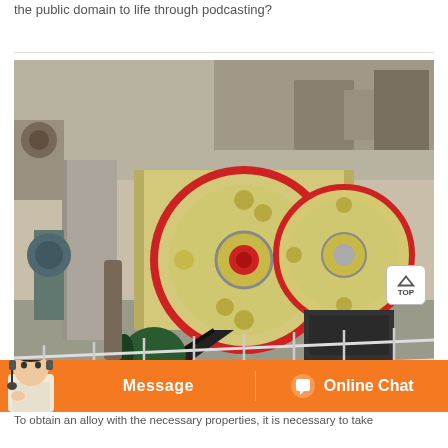the public domain to life through podcasting?
[Figure (photo): Industrial jaw crusher machine with large yellow flywheels with red rims, belt drive, and green motor, installed on a concrete platform with metal railings at an outdoor mining/quarry site.]
Message   Online Chat
To obtain an alloy with the necessary properties, it is necessary to take